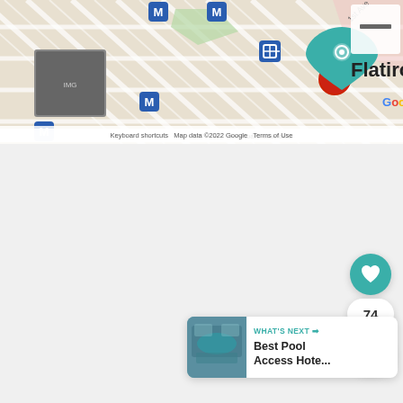[Figure (screenshot): Google Maps screenshot showing Flatiron Building area in New York City, with metro (M) station markers, a photo marker, and the Google logo. Map data ©2022 Google. Includes keyboard shortcuts and Terms of Use links at the bottom.]
Keyboard shortcuts   Map data ©2022 Google   Terms of Use
[Figure (screenshot): Light gray content area (blank/loading state)]
[Figure (infographic): Heart (favorite) button in teal, count badge showing 74, and share button with plus icon]
74
[Figure (screenshot): WHAT'S NEXT card with pool hotel thumbnail image and text 'Best Pool Access Hote...']
WHAT'S NEXT →
Best Pool Access Hote...